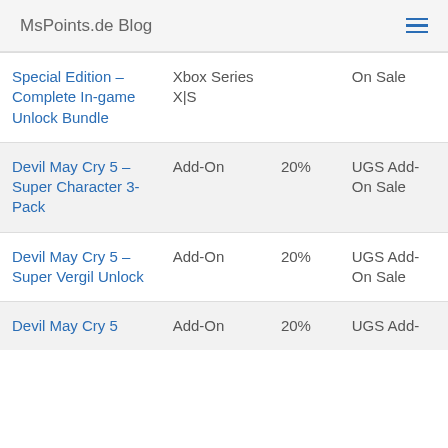MsPoints.de Blog
| Name | Type | Discount | Sale |
| --- | --- | --- | --- |
| Special Edition – Complete In-game Unlock Bundle | Xbox Series X|S |  | On Sale |
| Devil May Cry 5 – Super Character 3-Pack | Add-On | 20% | UGS Add-On Sale |
| Devil May Cry 5 – Super Vergil Unlock | Add-On | 20% | UGS Add-On Sale |
| Devil May Cry 5 | Add-On | 20% | UGS Add- |